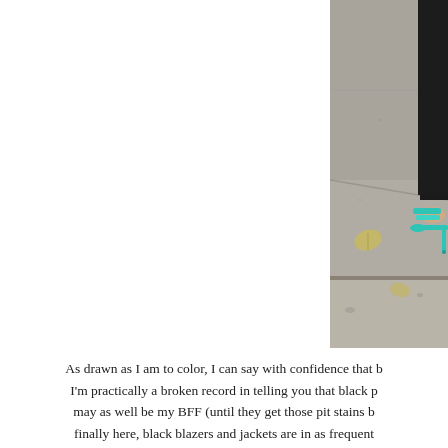[Figure (photo): Close-up street photo of a person's legs in black pants wearing teal/aqua strappy high-heeled sandals walking on a concrete sidewalk. A fallen leaf is visible on the ground.]
As drawn as I am to color, I can say with confidence that b... I'm practically a broken record in telling you that black p... may as well be my BFF (until they get those pit stains b... finally here, black blazers and jackets are in as frequent...